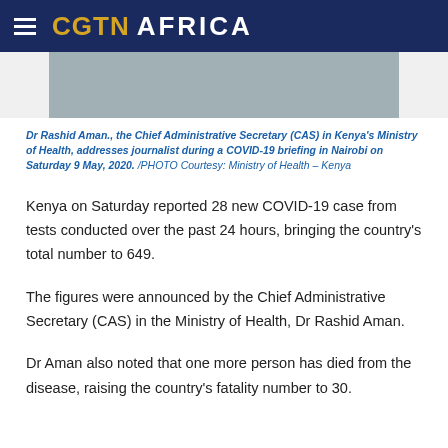CGTN AFRICA
[Figure (photo): Partial photo of Dr Rashid Aman at a COVID-19 briefing]
Dr Rashid Aman., the Chief Administrative Secretary (CAS) in Kenya's Ministry of Health, addresses journalist during a COVID-19 briefing in Nairobi on Saturday 9 May, 2020. /PHOTO Courtesy: Ministry of Health – Kenya
Kenya on Saturday reported 28 new COVID-19 case from tests conducted over the past 24 hours, bringing the country's total number to 649.
The figures were announced by the Chief Administrative Secretary (CAS) in the Ministry of Health, Dr Rashid Aman.
Dr Aman also noted that one more person has died from the disease, raising the country's fatality number to 30.